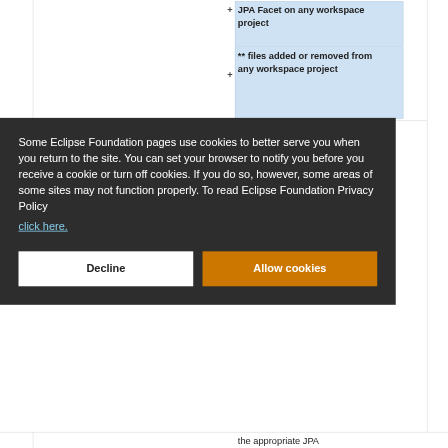|  | + JPA Facet on any workspace project |
|  | + ** files added or removed from any workspace project |
Some Eclipse Foundation pages use cookies to better serve you when you return to the site. You can set your browser to notify you before you receive a cookie or turn off cookies. If you do so, however, some areas of some sites may not function properly. To read Eclipse Foundation Privacy Policy
click here.
Decline
Allow cookies
the appropriate JPA